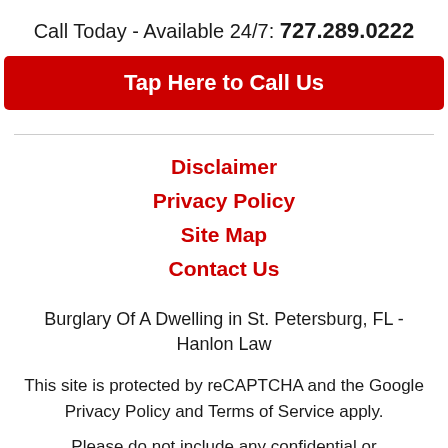Call Today - Available 24/7: 727.289.0222
[Figure (other): Red button: Tap Here to Call Us]
Disclaimer
Privacy Policy
Site Map
Contact Us
Burglary Of A Dwelling in St. Petersburg, FL - Hanlon Law
This site is protected by reCAPTCHA and the Google Privacy Policy and Terms of Service apply.
Please do not include any confidential or